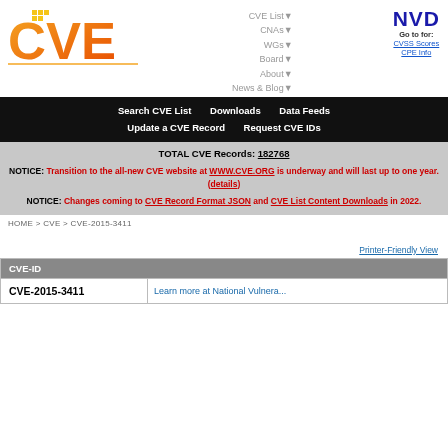[Figure (logo): CVE logo — orange gradient letters C V E with pixel-style decoration]
CVE List▼
CNAs▼
WGs▼
Board▼
About▼
News & Blog▼
[Figure (logo): NVD logo in dark blue bold text, Go to for: CVSS Scores, CPE Info]
Search CVE List   Downloads   Data Feeds
Update a CVE Record   Request CVE IDs
TOTAL CVE Records: 182768
NOTICE: Transition to the all-new CVE website at WWW.CVE.ORG is underway and will last up to one year. (details)
NOTICE: Changes coming to CVE Record Format JSON and CVE List Content Downloads in 2022.
HOME > CVE > CVE-2015-3411
Printer-Friendly View
| CVE-ID |  |
| --- | --- |
| CVE-2015-3411 | Learn more at National Vulnera... |